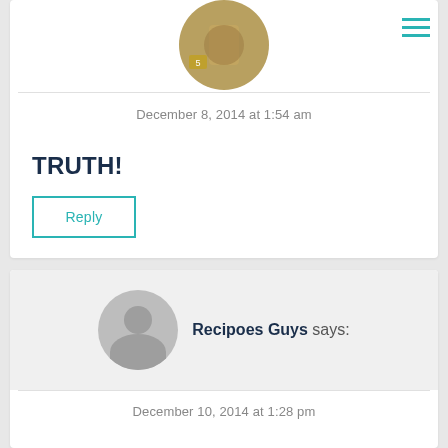[Figure (other): Hamburger menu icon with three teal horizontal lines in top right corner]
[Figure (photo): Partially visible circular avatar photo of a person at top of first comment card]
December 8, 2014 at 1:54 am
TRUTH!
Reply
[Figure (illustration): Gray circular avatar with person silhouette (head and shoulders)]
Recipoes Guys says:
December 10, 2014 at 1:28 pm